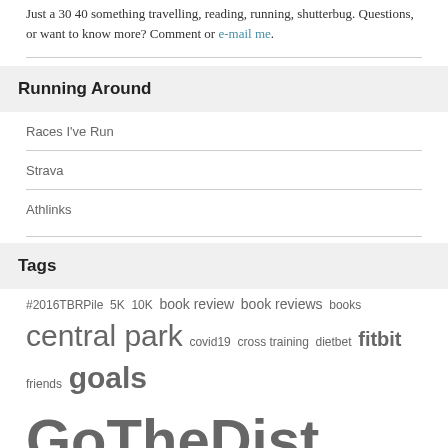Just a 30 40 something travelling, reading, running, shutterbug. Questions, or want to know more? Comment or e-mail me.
Running Around
Races I've Run
Strava
Athlinks
Tags
#2016TBRPile 5K 10K book review book reviews books central park covid19 cross training dietbet fitbit friends goals GoTheDist greatmanhattanloop Half Marathon half marathon training linkup manhattan mile high run club mini goals nyc nyrr peloton podcasts PR race recap